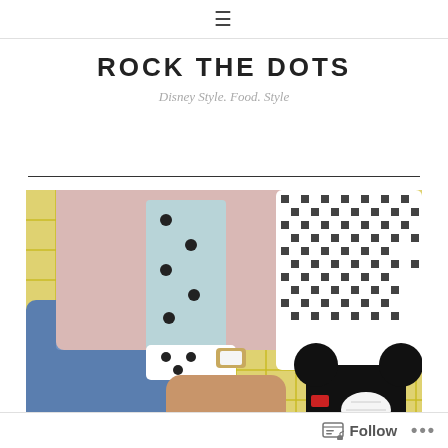≡
ROCK THE DOTS
Disney Style. Food. Style
[Figure (photo): Person sitting on a yellow lattice chair wearing a pink blazer over a polka-dot blouse, distressed blue jeans, and a watch, holding or resting arm on a black and white houndstooth pillow next to a Mickey Mouse shaped bag.]
Follow •••